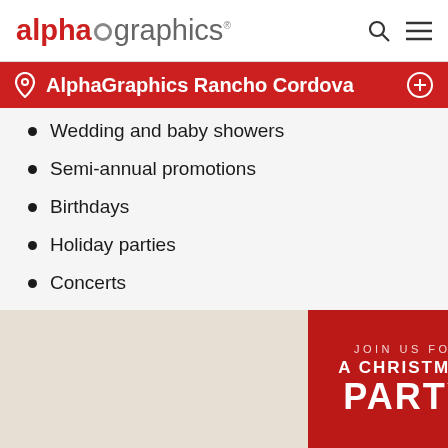alphagraphics
AlphaGraphics Rancho Cordova
Wedding and baby showers
Semi-annual promotions
Birthdays
Holiday parties
Concerts
[Figure (photo): Christmas party invitation card with red background showing text: JOIN US FOR A CHRISTMAS PARTY]